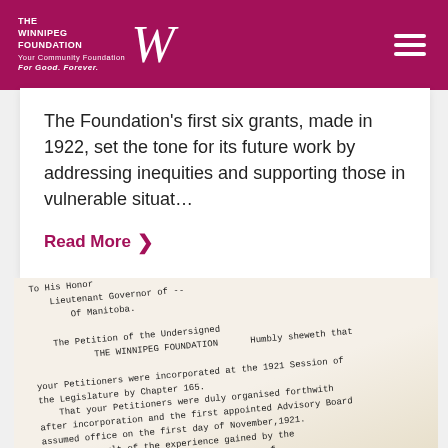THE WINNIPEG FOUNDATION — Your Community Foundation For Good. Forever.
The Foundation's first six grants, made in 1922, set the tone for its future work by addressing inequities and supporting those in vulnerable situat…
Read More
[Figure (photo): A photograph of a historic typewritten petition document addressed 'To His Honor Lieutenant Governor of Manitoba', from The Winnipeg Foundation, describing incorporation at the 1921 Session of the Legislature by Chapter 165, and the organisation of petitioners.]